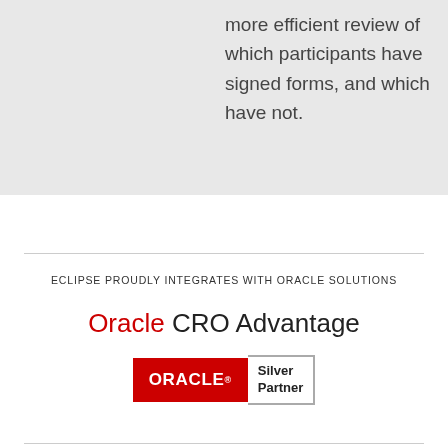more efficient review of which participants have signed forms, and which have not.
ECLIPSE PROUDLY INTEGRATES WITH ORACLE SOLUTIONS
[Figure (logo): Oracle CRO Advantage text logo with Oracle in red and CRO Advantage in black]
[Figure (logo): Oracle Silver Partner badge with ORACLE in white text on red background and Silver Partner text]